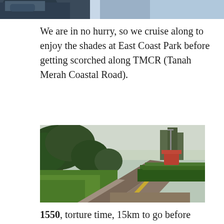[Figure (photo): Partial view of a person on a bicycle, cropped at top of page]
We are in no hurry, so we cruise along to enjoy the shades at East Coast Park before getting scorched along TMCR (Tanah Merah Coastal Road).
[Figure (photo): A paved cycling/walking path flanked by large trees on the left and manicured hedges on the right, at East Coast Park, Singapore]
1550, torture time, 15km to go before Changi Village. No slopes (unlike Lim Chu Kang), but